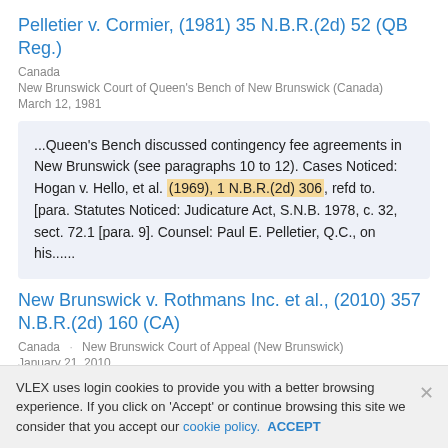Pelletier v. Cormier, (1981) 35 N.B.R.(2d) 52 (QB Reg.)
Canada
New Brunswick Court of Queen's Bench of New Brunswick (Canada)
March 12, 1981
...Queen's Bench discussed contingency fee agreements in New Brunswick (see paragraphs 10 to 12). Cases Noticed: Hogan v. Hello, et al. (1969), 1 N.B.R.(2d) 306, refd to. [para. Statutes Noticed: Judicature Act, S.N.B. 1978, c. 32, sect. 72.1 [para. 9]. Counsel: Paul E. Pelletier, Q.C., on his......
New Brunswick v. Rothmans Inc. et al., (2010) 357 N.B.R.(2d) 160 (CA)
Canada    New Brunswick Court of Appeal (New Brunswick)
January 21, 2010
VLEX uses login cookies to provide you with a better browsing experience. If you click on 'Accept' or continue browsing this site we consider that you accept our cookie policy.  ACCEPT